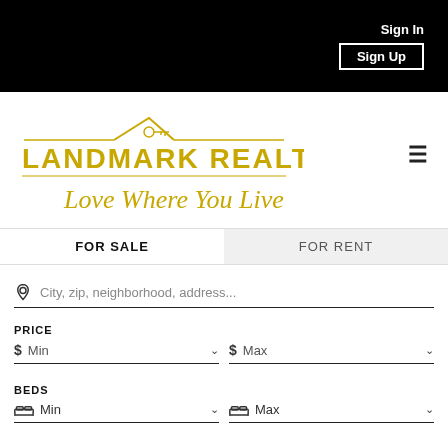Sign In | Sign Up
[Figure (logo): Landmark Realty logo with gold house/key icon, text 'LANDMARK REALTY' and script tagline 'Love Where You Live']
FOR SALE
FOR RENT
City, zip, neighborhood, address...
PRICE
$ Min
$ Max
BEDS
Min
Max